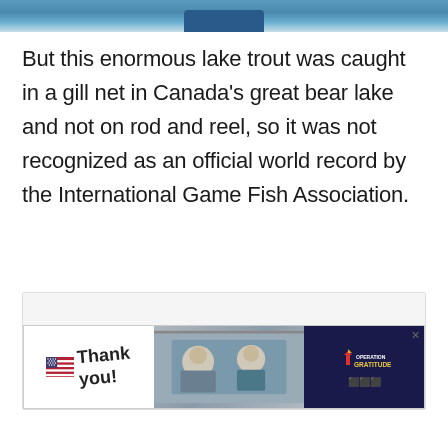[Figure (photo): Top strip showing partial photo of water/lake scene with blue boat or object visible at top edge of page]
But this enormous lake trout was caught in a gill net in Canada's great bear lake and not on rod and reel, so it was not recognized as an official world record by the International Game Fish Association.
[Figure (photo): Advertisement banner for Operation Gratitude showing 'Thank you!' handwritten text with American flag and pencil graphic, soldiers image in center, Operation Gratitude logo on dark blue background on right side]